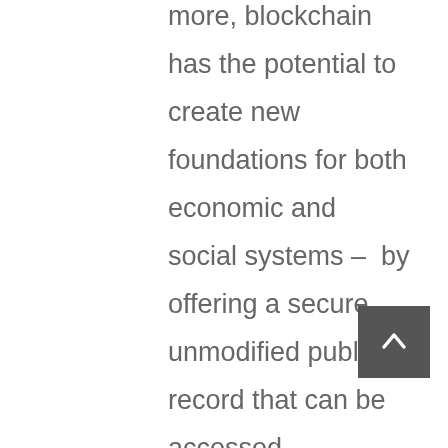more, blockchain has the potential to create new foundations for both economic and social systems – by offering a secure, unmodified public record that can be accessed anywhere, anytime with coded keys/encrypted identity authentication.
Beyond the world of finance, where blockchain came to the fore with the birth of Bitcoin, and other virtual currencies, the emerging uses for blockchain technology are exciting with huge potential to increase efficiencies and reduce costs etc.. Just recently, UAE Vice President